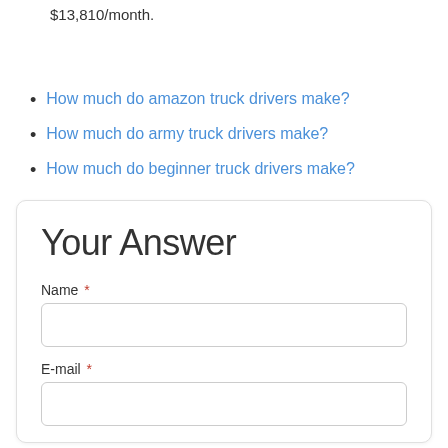$13,810/month.
How much do amazon truck drivers make?
How much do army truck drivers make?
How much do beginner truck drivers make?
Your Answer
Name *
E-mail *